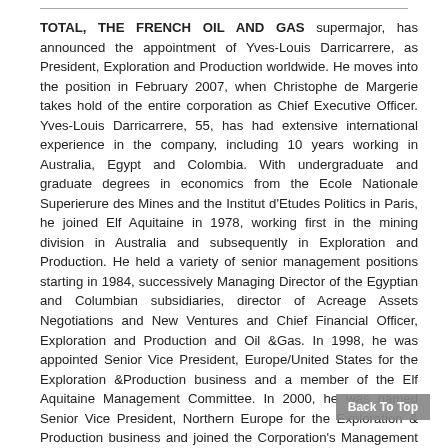TOTAL, THE FRENCH OIL AND GAS supermajor, has announced the appointment of Yves-Louis Darricarrere, as President, Exploration and Production worldwide. He moves into the position in February 2007, when Christophe de Margerie takes hold of the entire corporation as Chief Executive Officer. Yves-Louis Darricarrere, 55, has had extensive international experience in the company, including 10 years working in Australia, Egypt and Colombia. With undergraduate and graduate degrees in economics from the Ecole Nationale Superierure des Mines and the Institut d'Etudes Politics in Paris, he joined Elf Aquitaine in 1978, working first in the mining division in Australia and subsequently in Exploration and Production. He held a variety of senior management positions starting in 1984, successively Managing Director of the Egyptian and Columbian subsidiaries, director of Acreage Assets Negotiations and New Ventures and Chief Financial Officer, Exploration and Production and Oil &Gas. In 1998, he was appointed Senior Vice President, Europe/United States for the Exploration &Production business and a member of the Elf Aquitaine Management Committee. In 2000, he was named Senior Vice President, Northern Europe for the Exploration & Production business and joined the Corporation's Management Committee. He is moving to his next job from his current position of President of TOTAL Gas &Power, a job he has held since 2003.